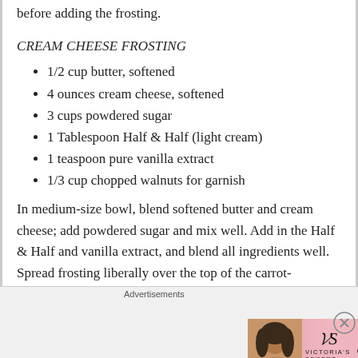before adding the frosting.
CREAM CHEESE FROSTING
1/2 cup butter, softened
4 ounces cream cheese, softened
3 cups powdered sugar
1 Tablespoon Half & Half (light cream)
1 teaspoon pure vanilla extract
1/3 cup chopped walnuts for garnish
In medium-size bowl, blend softened butter and cream cheese; add powdered sugar and mix well. Add in the Half & Half and vanilla extract, and blend all ingredients well. Spread frosting liberally over the top of the carrot-
[Figure (illustration): Victoria's Secret advertisement banner with model photo, VS logo, 'SHOP THE COLLECTION' text, and 'SHOP NOW' button]